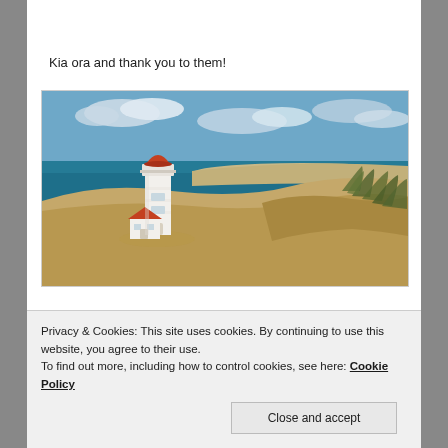Kia ora and thank you to them!
[Figure (photo): A white lighthouse with red dome and red-roofed building at its base, set against a sandy dune landscape with the ocean and coastline visible in the background under a partly cloudy sky.]
Privacy & Cookies: This site uses cookies. By continuing to use this website, you agree to their use.
To find out more, including how to control cookies, see here: Cookie Policy
Close and accept